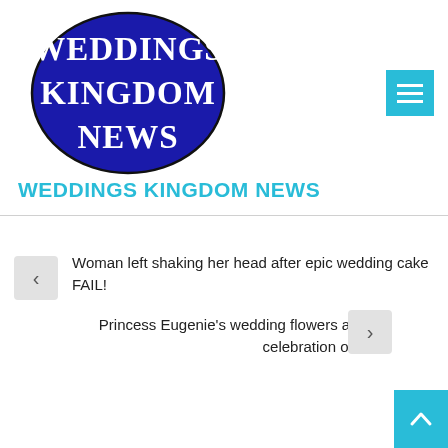[Figure (logo): Weddings Kingdom News logo: dark blue oval with white serif text reading WEDDINGS KINGDOM NEWS]
WEDDINGS KINGDOM NEWS
Woman left shaking her head after epic wedding cake FAIL!
Princess Eugenie's wedding flowers are a celebration of fall